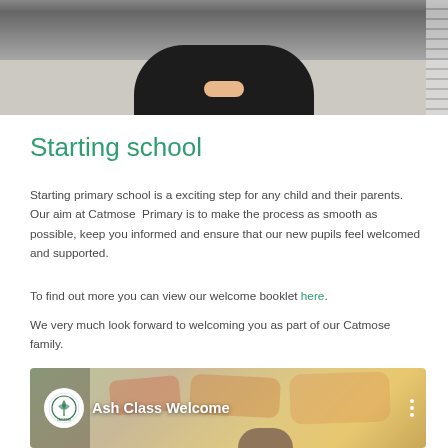[Figure (photo): Photo of a child sitting cross-legged on the floor in dark clothing, viewed from above]
Starting school
Starting primary school is a exciting step for any child and their parents. Our aim at Catmose Primary is to make the process as smooth as possible, keep you informed and ensure that our new pupils feel welcomed and supported.
To find out more you can view our welcome booklet here.
We very much look forward to welcoming you as part of our Catmose family.
[Figure (screenshot): Video thumbnail showing 'Ash Class Welcome' with a school logo circle and a world map background]